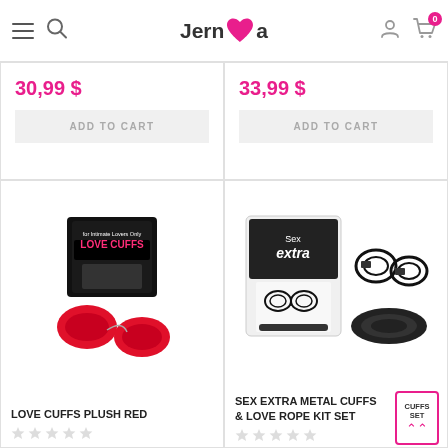Jernea — navigation header with hamburger menu, search icon, logo, user icon, and cart (0 items)
30,99 $
ADD TO CART
33,99 $
ADD TO CART
[Figure (photo): Love Cuffs Plush Red product — red fluffy handcuffs with a black product box labeled 'for Intimate Lovers Only LOVE CUFFS']
LOVE CUFFS PLUSH RED
[Figure (photo): Sex Extra Metal Cuffs & Love Rope Kit Set — black metal handcuffs with black rope, shown with product packaging labeled 'Sex extra']
SEX EXTRA METAL CUFFS & LOVE ROPE KIT SET